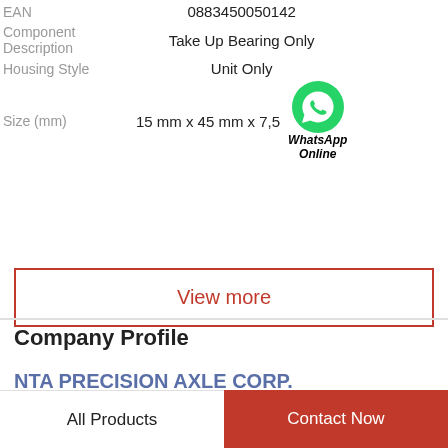|  |  |
| --- | --- |
| EAN | 0883450050142 |
| Component Description | Take Up Bearing Only |
| Housing Style | Unit Only |
| Size (mm) | 15 mm x 45 mm x 7,5 |
View more
Company Profile
NTA PRECISION AXLE CORP.
All Products
Contact Now